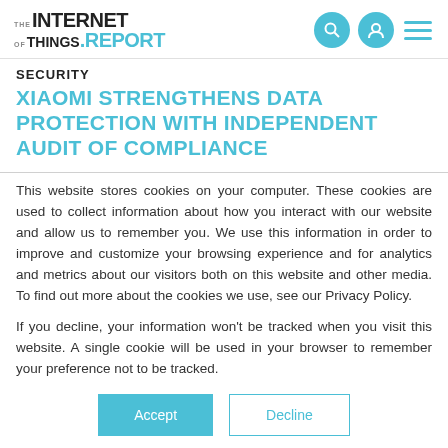THE INTERNET OF THINGS.REPORT
SECURITY
XIAOMI STRENGTHENS DATA PROTECTION WITH INDEPENDENT AUDIT OF COMPLIANCE
This website stores cookies on your computer. These cookies are used to collect information about how you interact with our website and allow us to remember you. We use this information in order to improve and customize your browsing experience and for analytics and metrics about our visitors both on this website and other media. To find out more about the cookies we use, see our Privacy Policy.
If you decline, your information won't be tracked when you visit this website. A single cookie will be used in your browser to remember your preference not to be tracked.
Accept | Decline